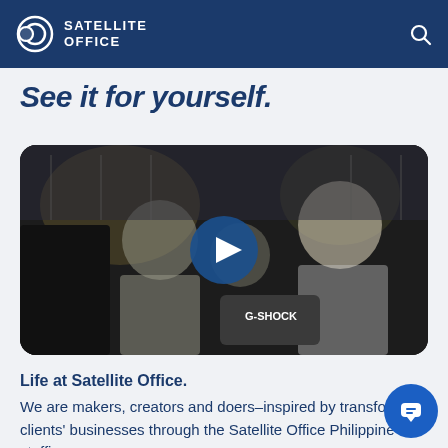SATELLITE OFFICE
See it for yourself.
[Figure (screenshot): Video thumbnail showing a group of people at an event, with a large blue play button overlay. A person is holding a G-SHOCK branded item.]
Life at Satellite Office.
We are makers, creators and doers–inspired by transforming clients' businesses through the Satellite Office Philippine staffing